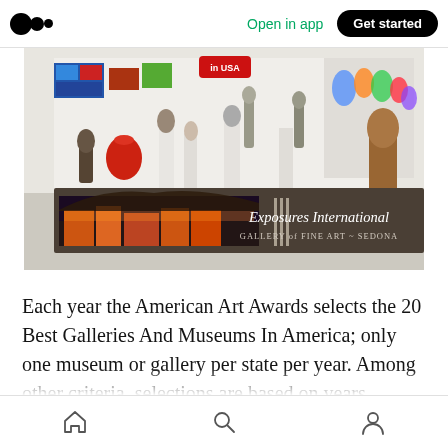Medium app header with logo, Open in app link, and Get started button
[Figure (photo): Interior of Exposures International Gallery of Fine Art in Sedona, showing art gallery with sculptures, colorful glass art, and paintings. A banner reads 'Exposures International Gallery of Fine Art ~ Sedona'. A red badge reads 'in USA'.]
Each year the American Art Awards selects the 20 Best Galleries And Museums In America; only one museum or gallery per state per year. Among other criteria, selections are based on years established, industry reputation, client...
Mobile navigation bar with Home, Search, and Profile icons